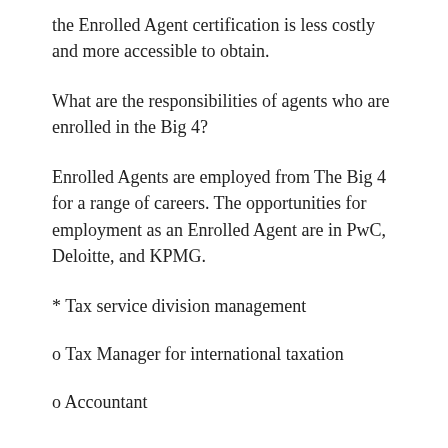the Enrolled Agent certification is less costly and more accessible to obtain.
What are the responsibilities of agents who are enrolled in the Big 4?
Enrolled Agents are employed from The Big 4 for a range of careers. The opportunities for employment as an Enrolled Agent are in PwC, Deloitte, and KPMG.
* Tax service division management
o Tax Manager for international taxation
o Accountant